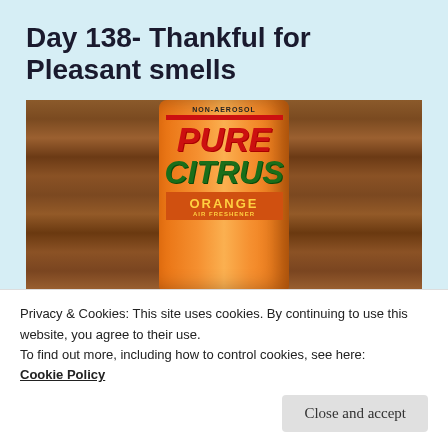Day 138- Thankful for Pleasant smells
[Figure (photo): Photo of a Pure Citrus Orange Air Freshener non-aerosol spray can, orange colored, sitting in front of a wooden background.]
Have you ever wondered why the saying goes, “To keep your nose smelling good” is made of luck...
Privacy & Cookies: This site uses cookies. By continuing to use this website, you agree to their use.
To find out more, including how to control cookies, see here:
Cookie Policy
Close and accept